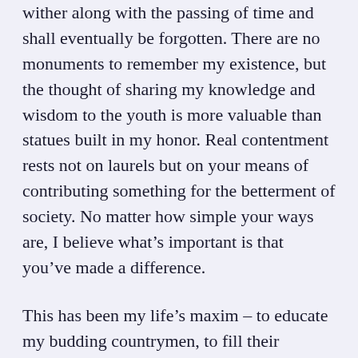wither along with the passing of time and shall eventually be forgotten. There are no monuments to remember my existence, but the thought of sharing my knowledge and wisdom to the youth is more valuable than statues built in my honor. Real contentment rests not on laurels but on your means of contributing something for the betterment of society. No matter how simple your ways are, I believe what's important is that you've made a difference.
This has been my life's maxim – to educate my budding countrymen, to fill their character with values and virtues.
Of course, as a teacher, I've encountered many mud pools and potholes along the way. I've faced tremendous challenges on attending to